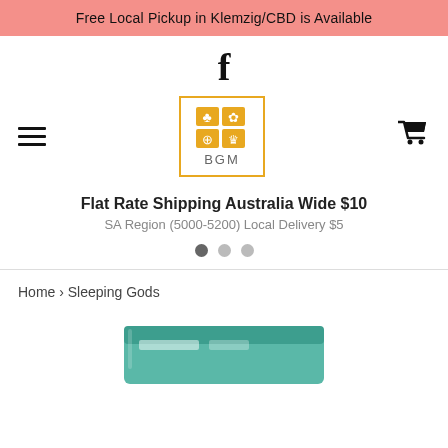Free Local Pickup in Klemzig/CBD is Available
[Figure (logo): Facebook 'f' icon in black]
[Figure (logo): BGM board game store logo with four quadrant icons (card, game pieces, board pieces) in orange/gold inside a gold-bordered box, with text BGM below]
Flat Rate Shipping Australia Wide $10
SA Region (5000-5200) Local Delivery $5
Home › Sleeping Gods
[Figure (photo): Partial view of a board game box (Sleeping Gods) peeking from the bottom of the page]